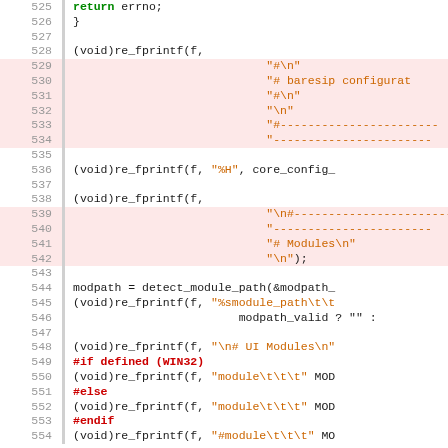[Figure (screenshot): Source code viewer showing C code lines 525-554 with syntax highlighting. Line numbers on left, code with red/green/brown color coding for keywords, strings, and functions. Some lines highlighted in red background.]